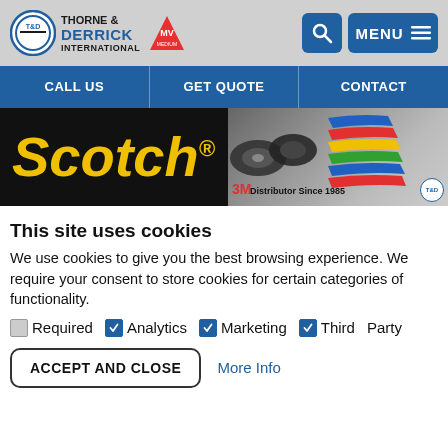[Figure (logo): Thorne & Derrick International logo with T&D circle and MV triangle badge, plus search and menu buttons]
CALL US | GET QUOTE | CONTACT
[Figure (screenshot): Scotch brand banner with colorful tape rolls and '3M Distributor Since 1985' text]
This site uses cookies
We use cookies to give you the best browsing experience. We require your consent to store cookies for certain categories of functionality.
Required  Analytics  Marketing  Third Party
ACCEPT AND CLOSE   More Info